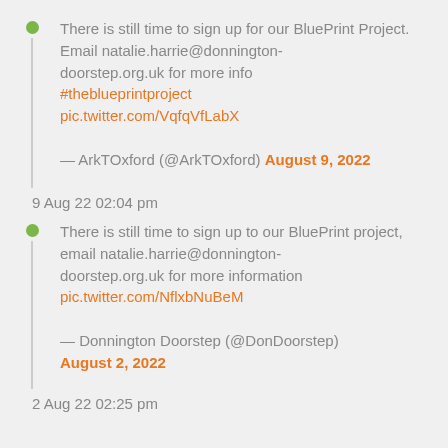There is still time to sign up for our BluePrint Project. Email natalie.harrie@donnington-doorstep.org.uk for more info #theblueprintproject pic.twitter.com/VqfqVfLabX — ArkTOxford (@ArkTOxford) August 9, 2022
9 Aug 22 02:04 pm
There is still time to sign up to our BluePrint project, email natalie.harrie@donnington-doorstep.org.uk for more information pic.twitter.com/NflxbNuBeM — Donnington Doorstep (@DonDoorstep) August 2, 2022
2 Aug 22 02:25 pm